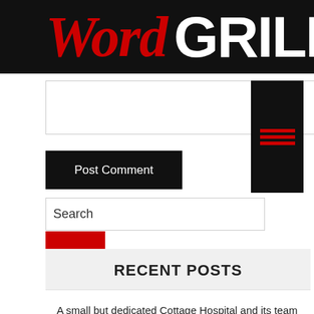WordGRILL
[Figure (screenshot): Comment text area input field with border]
[Figure (illustration): Black rectangle with three red horizontal lines forming a grill icon]
Post Comment
Search
[Figure (illustration): Red search button]
RECENT POSTS
A small but dedicated Cottage Hospital and its team of doctors and nurses
How to Clear Up Your Garden in Spring